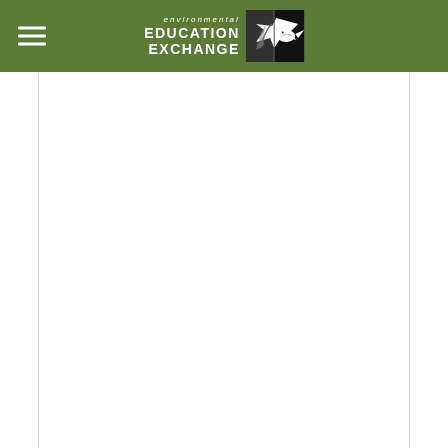environmental EDUCATION EXCHANGE